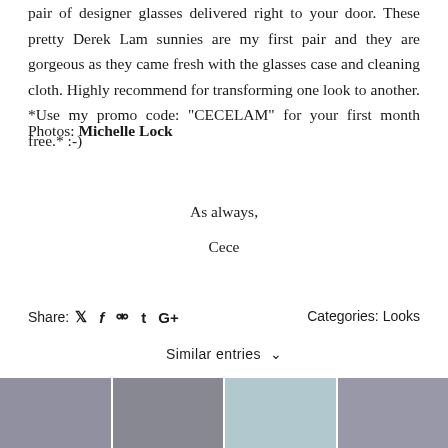pair of designer glasses delivered right to your door. These pretty Derek Lam sunnies are my first pair and they are gorgeous as they came fresh with the glasses case and cleaning cloth. Highly recommend for transforming one look to another. *Use my promo code: "CECELAM" for your first month free.* :-)
Photos: Michelle Lock
As always,
Cece
Share: [twitter] [facebook] [pinterest] [tumblr] [google+]    Categories: Looks
Similar entries ∨
[Figure (photo): Four thumbnail photos of a woman, shown at the bottom of the page]